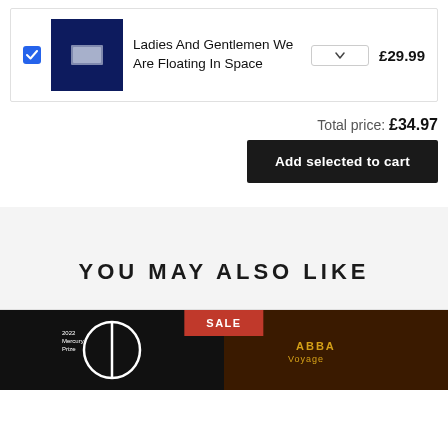[Figure (screenshot): Shopping cart item row with checkbox, album image for 'Ladies And Gentlemen We Are Floating In Space', quantity dropdown, and price £29.99]
Total price: £34.97
Add selected to cart
YOU MAY ALSO LIKE
[Figure (screenshot): Two product thumbnails side by side: left is Mercury Prize album on dark background, right is ABBA Voyage on dark brown background. A SALE badge appears at top center.]